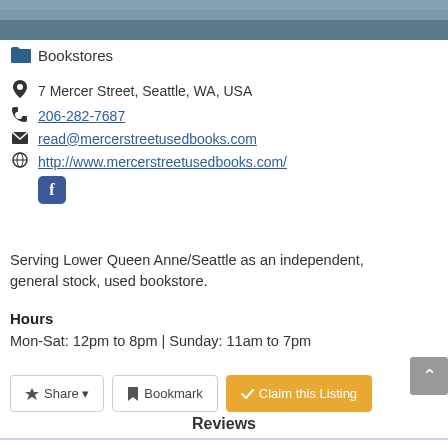[Figure (photo): Top portion of a photo showing a building exterior, partially visible]
Bookstores
7 Mercer Street, Seattle, WA, USA
206-282-7687
read@mercerstreetusedbooks.com
http://www.mercerstreetusedbooks.com/
[Figure (logo): Facebook icon]
Serving Lower Queen Anne/Seattle as an independent, general stock, used bookstore.
Hours
Mon-Sat: 12pm to 8pm | Sunday: 11am to 7pm
Share  Bookmark  Claim this Listing
Reviews